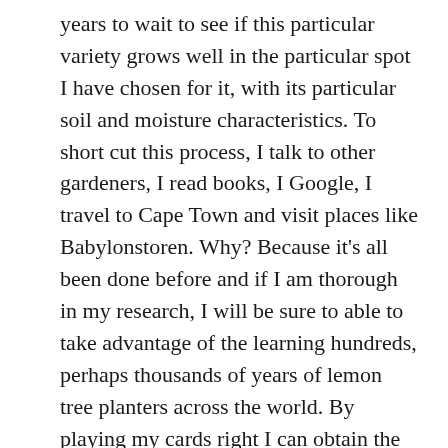years to wait to see if this particular variety grows well in the particular spot I have chosen for it, with its particular soil and moisture characteristics. To short cut this process, I talk to other gardeners, I read books, I Google, I travel to Cape Town and visit places like Babylonstoren. Why? Because it’s all been done before and if I am thorough in my research, I will be sure to able to take advantage of the learning hundreds, perhaps thousands of years of lemon tree planters across the world. By playing my cards right I can obtain the power and clarity that would otherwise only be available to me if I had lived for many generations.